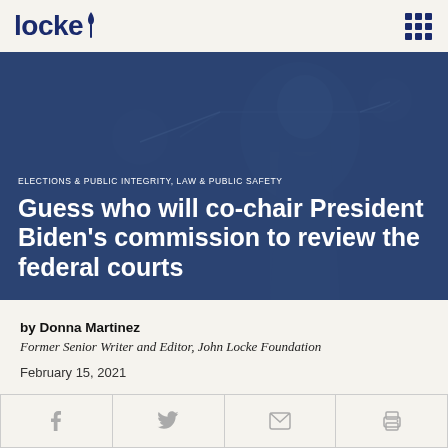locke
[Figure (photo): Hero image with a statue of justice holding scales, overlaid with dark blue tint. Contains category label 'ELECTIONS & PUBLIC INTEGRITY, LAW & PUBLIC SAFETY' and article title 'Guess who will co-chair President Biden’s commission to review the federal courts']
ELECTIONS & PUBLIC INTEGRITY, LAW & PUBLIC SAFETY
Guess who will co-chair President Biden’s commission to review the federal courts
by Donna Martinez
Former Senior Writer and Editor, John Locke Foundation
February 15, 2021